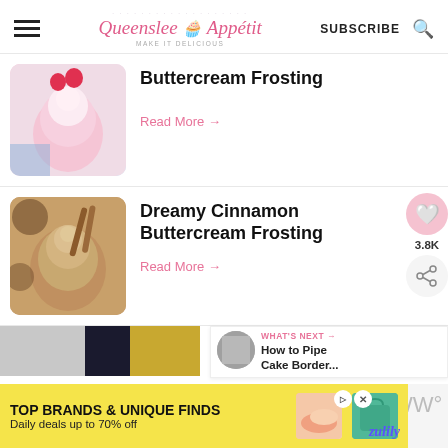Queenslee Appétit — SUBSCRIBE
Buttercream Frosting
Read More →
Dreamy Cinnamon Buttercream Frosting
Read More →
WHAT'S NEXT → How to Pipe Cake Border...
TOP BRANDS & UNIQUE FINDS
Daily deals up to 70% off